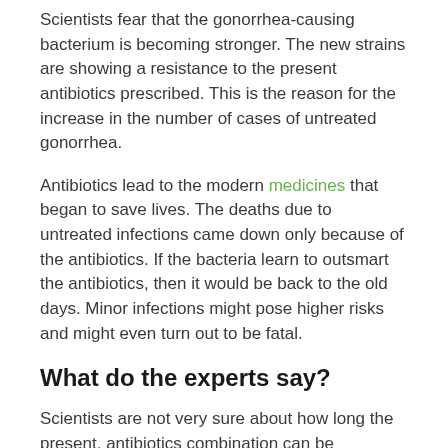Scientists fear that the gonorrhea-causing bacterium is becoming stronger. The new strains are showing a resistance to the present antibiotics prescribed. This is the reason for the increase in the number of cases of untreated gonorrhea.
Antibiotics lead to the modern medicines that began to save lives. The deaths due to untreated infections came down only because of the antibiotics. If the bacteria learn to outsmart the antibiotics, then it would be back to the old days. Minor infections might pose higher risks and might even turn out to be fatal.
What do the experts say?
Scientists are not very sure about how long the present, antibiotics combination can be prescribed for gonorrhea. If there are new strains fighting even the toughest antibiotics, then there might eventually be no cure. Scientists might run out of options to formulate an